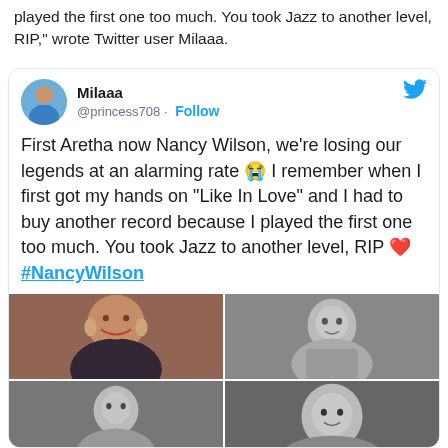played the first one too much. You took Jazz to another level, RIP," wrote Twitter user Milaaa.
[Figure (screenshot): Tweet from @princess708 (Milaaa) with Follow button and Twitter bird logo. Tweet text: 'First Aretha now Nancy Wilson, we're losing our legends at an alarming rate 😭 I remember when I first got my hands on "Like In Love" and I had to buy another record because I played the first one too much. You took Jazz to another level, RIP ❤️ #NancyWilson'. Includes 4 photos of Nancy Wilson in a 2x2 grid.]